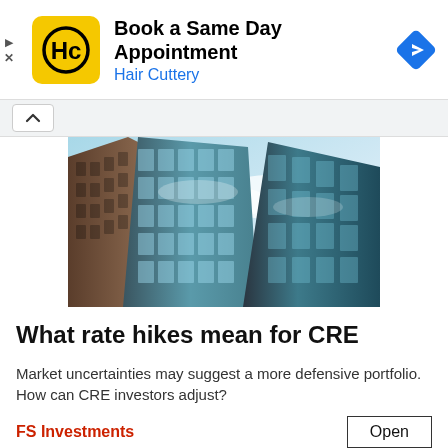[Figure (other): Advertisement banner for Hair Cuttery: logo (HC in yellow circle), text 'Book a Same Day Appointment / Hair Cuttery', blue navigation arrow diamond icon]
[Figure (photo): Upward-looking photograph of glass skyscraper buildings reflecting sky and clouds, teal and grey tones]
What rate hikes mean for CRE
Market uncertainties may suggest a more defensive portfolio. How can CRE investors adjust?
FS Investments
Open